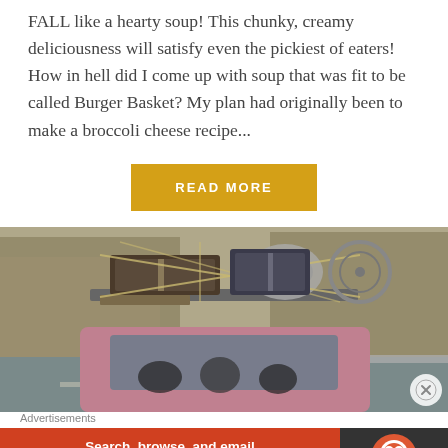FALL like a hearty soup! This chunky, creamy deliciousness will satisfy even the pickiest of eaters! How in hell did I come up with soup that was fit to be called Burger Basket? My plan had originally been to make a broccoli cheese recipe...
READ MORE
[Figure (photo): Back view of a car loaded with luggage and suitcases strapped to the roof rack, with people visible through the rear window, driving on a road with trees in the background.]
Advertisements
[Figure (screenshot): DuckDuckGo advertisement banner. Left side red background with white bold text: 'Search, browse, and email with more privacy.' and a white pill button 'All in One Free App'. Right side dark background with DuckDuckGo logo (duck icon) and 'DuckDuckGo' text.]